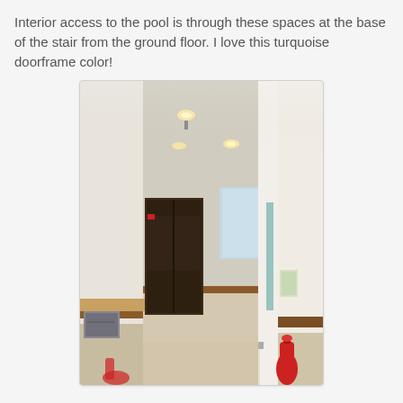Interior access to the pool is through these spaces at the base of the stair from the ground floor. I love this turquoise doorframe color!
[Figure (photo): Interior hallway/corridor of a building showing white walls with wood baseboards, recessed ceiling lights, a dark wood cabinet/wardrobe on the left, a window with light at the end of the corridor, beige/cream floor tiles, and a fire extinguisher visible at the bottom right. A turquoise doorframe is referenced in the caption text.]